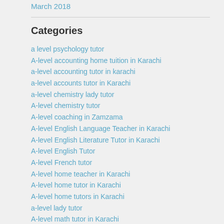March 2018
Categories
a level psychology tutor
A-level accounting home tuition in Karachi
a-level accounting tutor in karachi
a-level accounts tutor in Karachi
a-level chemistry lady tutor
A-level chemistry tutor
A-level coaching in Zamzama
A-level English Language Teacher in Karachi
A-level English Literature Tutor in Karachi
A-level English Tutor
A-level French tutor
A-level home teacher in Karachi
A-level home tutor in Karachi
A-level home tutors in Karachi
a-level lady tutor
A-level math tutor in Karachi
A-level Mathematics
A-level Mathematics teacher in Karachi
A-level online teacher